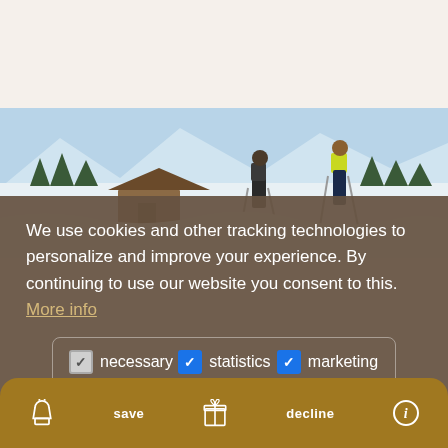[Figure (logo): Hotel Stauder logo with star emblem and stylized hotel name in italic serif font]
[Figure (photo): Winter ski scene with skiers on snowy mountain slope with wooden chalets and trees in background]
We use cookies and other tracking technologies to personalize and improve your experience. By continuing to use our website you consent to this. More info
necessary  ✓ statistics  ✓ marketing
allow all!
save  decline